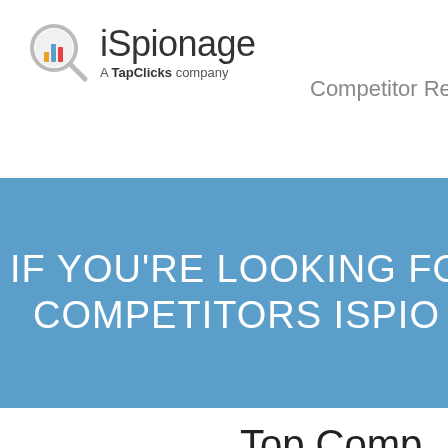[Figure (logo): iSpionage logo with bar chart magnifying glass icon. Text reads 'iSpionage' with tagline 'A TapClicks company']
Competitor Research   Camp
IF YOU'RE LOOKING FO... COMPETITORS ISPIO...
Top Comp
|  | PPC Budge |
| --- | --- |
| displays2go.com | $65,602 |